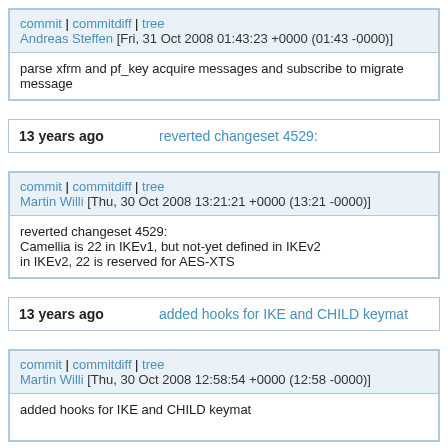commit | commitdiff | tree
Andreas Steffen [Fri, 31 Oct 2008 01:43:23 +0000 (01:43 -0000)]
parse xfrm and pf_key acquire messages and subscribe to migrate message
13 years ago   reverted changeset 4529:
commit | commitdiff | tree
Martin Willi [Thu, 30 Oct 2008 13:21:21 +0000 (13:21 -0000)]
reverted changeset 4529:
Camellia is 22 in IKEv1, but not-yet defined in IKEv2
in IKEv2, 22 is reserved for AES-XTS
13 years ago   added hooks for IKE and CHILD keymat
commit | commitdiff | tree
Martin Willi [Thu, 30 Oct 2008 12:58:54 +0000 (12:58 -0000)]
added hooks for IKE and CHILD keymat